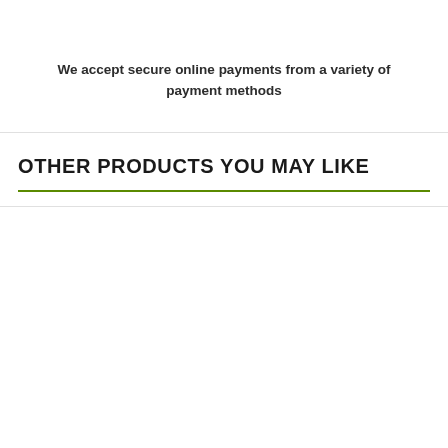We accept secure online payments from a variety of payment methods
OTHER PRODUCTS YOU MAY LIKE